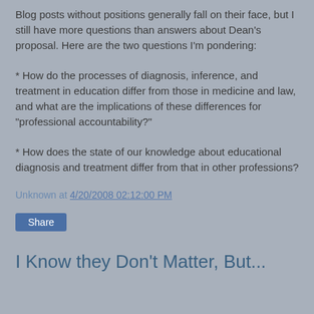Blog posts without positions generally fall on their face, but I still have more questions than answers about Dean's proposal. Here are the two questions I'm pondering:
* How do the processes of diagnosis, inference, and treatment in education differ from those in medicine and law, and what are the implications of these differences for "professional accountability?"
* How does the state of our knowledge about educational diagnosis and treatment differ from that in other professions?
Unknown at 4/20/2008 02:12:00 PM
Share
I Know they Don't Matter, But...